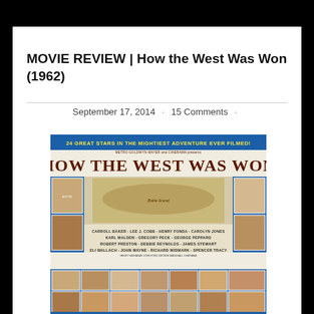MOVIE REVIEW | How the West Was Won (1962)
September 17, 2014 · 15 Comments ·
[Figure (photo): Movie poster for 'How the West Was Won' (1962) by Metro-Goldwyn-Mayer and Cinerama. Header reads '24 GREAT STARS IN THE MIGHTIEST ADVENTURE EVER FILMED!' with large title text and actor names including Carroll Baker, Lee J. Cobb, Henry Fonda, Carolyn Jones, Karl Malden, Gregory Peck, George Peppard, Robert Preston, Debbie Reynolds, James Stewart, Eli Wallach, John Wayne, Richard Widmark, Spencer Tracy. Bottom shows grid of actor headshots.]